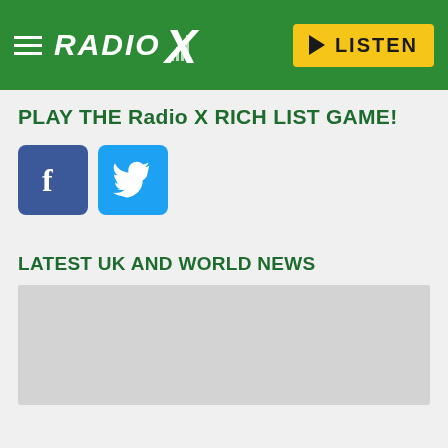RADIO X — LISTEN
PLAY THE Radio X RICH LIST GAME!
[Figure (illustration): Facebook and Twitter social media share icons]
LATEST UK AND WORLD NEWS
[Figure (photo): Grey placeholder image for news article]